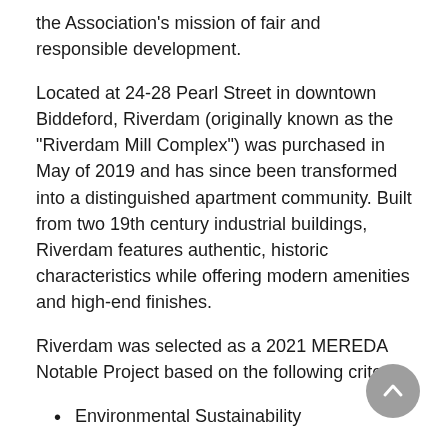the Association's mission of fair and responsible development.
Located at 24-28 Pearl Street in downtown Biddeford, Riverdam (originally known as the "Riverdam Mill Complex") was purchased in May of 2019 and has since been transformed into a distinguished apartment community. Built from two 19th century industrial buildings, Riverdam features authentic, historic characteristics while offering modern amenities and high-end finishes.
Riverdam was selected as a 2021 MEREDA Notable Project based on the following criteria:
Environmental Sustainability
Difficulty of the Development
Uniqueness
Economic impact...